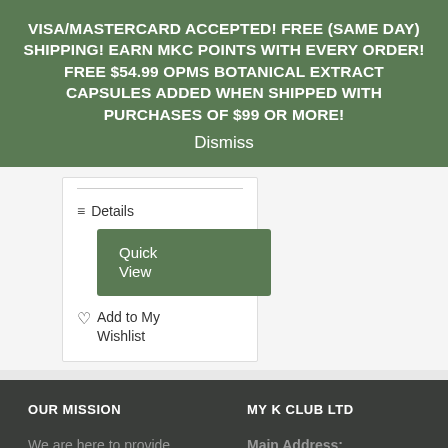VISA/MASTERCARD ACCEPTED! FREE (SAME DAY) SHIPPING! EARN MKC POINTS WITH EVERY ORDER! FREE $54.99 OPMS BOTANICAL EXTRACT CAPSULES ADDED WHEN SHIPPED WITH PURCHASES OF $99 OR MORE!
Dismiss
Details
Quick View
Add to My Wishlist
OUR MISSION
MY K CLUB LTD
We are here to provide safe all-natural
Main Address: 1787 Tribute Rd